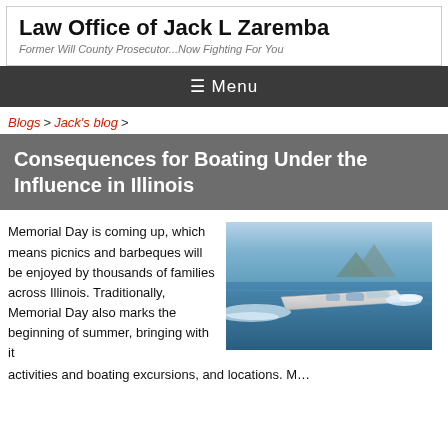Law Office of Jack L Zaremba
Former Will County Prosecutor...Now Fighting For You
☰ Menu
Blogs > Jack's blog >
Consequences for Boating Under the Influence in Illinois
[Figure (photo): A white luxury speedboat cutting through blue ocean water at high speed, with spray and wake visible, mountains in the background.]
Memorial Day is coming up, which means picnics and barbeques will be enjoyed by thousands of families across Illinois. Traditionally, Memorial Day also marks the beginning of summer, bringing with it activities and boating excursions, and locations. M...